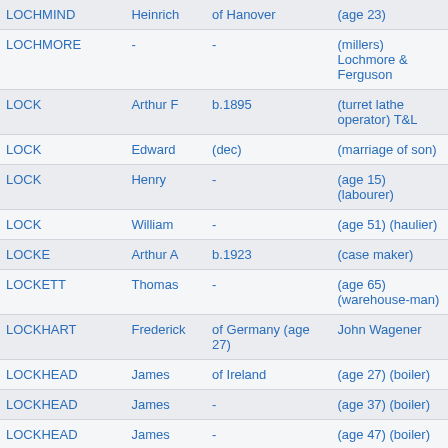| LOCHMIND | Heinrich | of Hanover | (age 23) |
| LOCHMORE | - | - | (millers) Lochmore & Ferguson |
| LOCK | Arthur F | b.1895 | (turret lathe operator) T&L |
| LOCK | Edward | (dec) | (marriage of son) |
| LOCK | Henry | - | (age 15) (labourer) |
| LOCK | William | - | (age 51) (haulier) |
| LOCKE | Arthur A | b.1923 | (case maker) |
| LOCKETT | Thomas | - | (age 65) (warehouse-man) |
| LOCKHART | Frederick | of Germany (age 27) | John Wagener |
| LOCKHEAD | James | of Ireland | (age 27) (boiler) |
| LOCKHEAD | James | - | (age 37) (boiler) |
| LOCKHEAD | James | - | (age 47) (boiler) |
| LOCKHEAD | John | of Scotland | (age 14) (labourer) |
| LOCKIER | Joel | (age 29) | (labourer) |